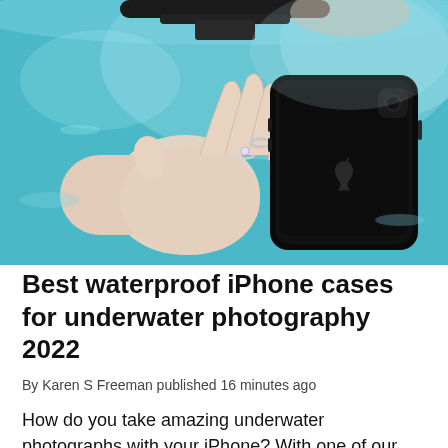[Figure (photo): Underwater photograph of a hand holding a black iPhone with rings on fingers, submerged in turquoise blue water, with a handlebar mount visible at the top.]
Best waterproof iPhone cases for underwater photography 2022
By Karen S Freeman published 16 minutes ago
How do you take amazing underwater photographs with your iPhone? With one of our picks, one of